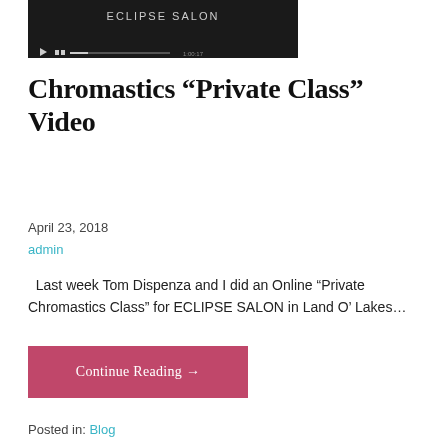[Figure (screenshot): Video thumbnail showing Eclipse Salon branding with dark background and video player controls at bottom]
Chromastics “Private Class” Video
April 23, 2018
admin
Last week Tom Dispenza and I did an Online “Private Chromastics Class” for ECLIPSE SALON in Land O’ Lakes…
Continue Reading →
Posted in: Blog